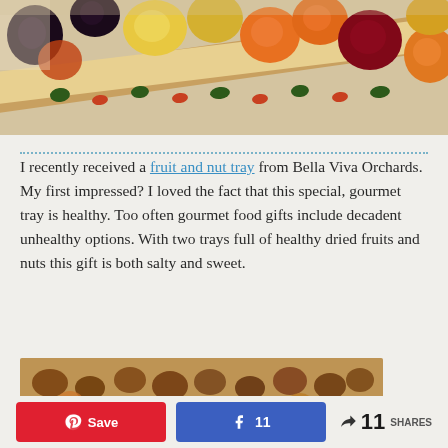[Figure (photo): A tray with assorted dried fruits including apricots, plums, and other dried fruits arranged on a decorative floral-edged tray]
I recently received a fruit and nut tray from Bella Viva Orchards.  My first impressed?  I loved the fact that this special, gourmet tray is healthy.  Too often gourmet food gifts include decadent unhealthy options.  With two trays full of healthy dried fruits and nuts this gift is both salty and sweet.
[Figure (photo): Close-up photo of nuts and dried fruits on a decorative floral-edged tray]
11 SHARES